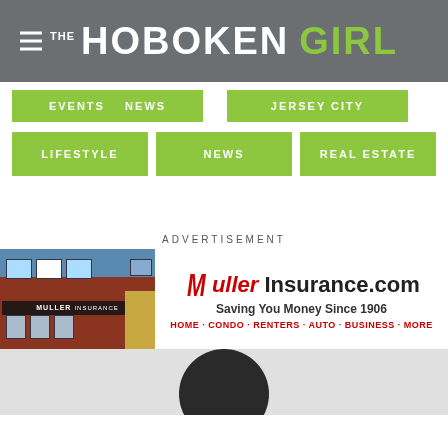THE HOBOKEN GIRL
[Figure (screenshot): Navigation menu buttons with green background: EVENTS, NEWS (partial top row), JERSEY CITY (partial top row), LIFESTYLE, NEWS, REAL ESTATE (second row)]
ADVERTISEMENT
[Figure (photo): Muller Insurance advertisement banner showing storefront photo on left and logo/text on right reading: Muller Insurance.com - Saving You Money Since 1906 - HOME · CONDO · RENTERS · AUTO · BUSINESS · MORE]
[Figure (photo): Bottom gray section with partial view of a dark circular avatar/profile photo]